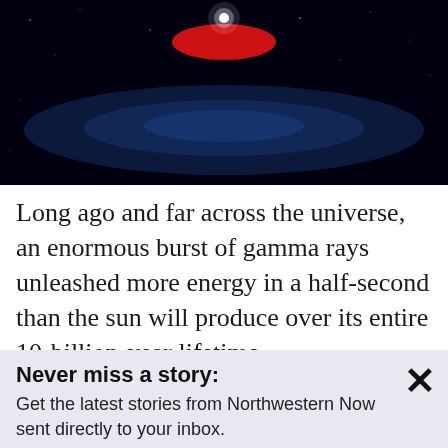[Figure (illustration): Black space background with a glowing blue accretion disk around a dark center, a bright white point of light at top center, and a red oval/burst shape just below it — depicting a gamma-ray burst or black hole event in deep space.]
Long ago and far across the universe, an enormous burst of gamma rays unleashed more energy in a half-second than the sun will produce over its entire 10-billion-year lifetime.
After examining the incredibly bright burst with optical, X-ray, near-infrared
Never miss a story:
Get the latest stories from Northwestern Now sent directly to your inbox.